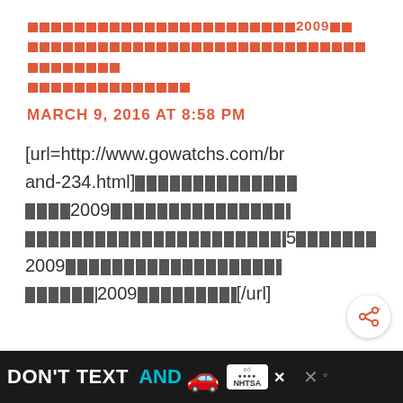□□□□□□□□□□□□□□□□□□□□□□□2009□□ □□□□□□□□□□□□□□□□□□□□□□□□□□□□□□□□□□□□□ □□□□□□□□□□□□□□
MARCH 9, 2016 AT 8:58 PM
[url=http://www.gowatchs.com/brand-234.html]□□□□□□□□□□□□□□□□□□□□□□□□□2009□□□□□□□□□□□□□□□□□□□□□□□□□□□□□□□□□□□□□□□□□□□5□□□□□□□□□2009□□□□□□□□□□□□□□□□□□□□□□□□□□□□□□□□□□2009□□□□□□□□□□□[/url]